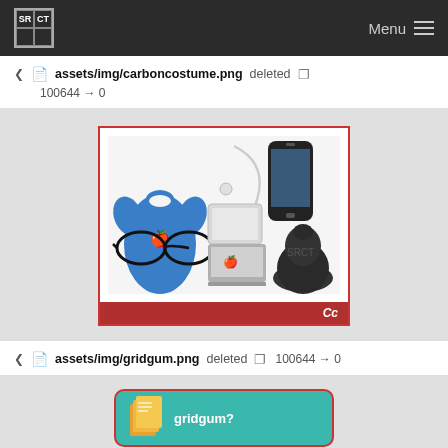SRCT Menu
assets/img/carboncostume.png deleted 100644 → 0
[Figure (screenshot): Carbon costume image preview showing Apple-themed items: blue Apple t-shirt, white earphone cable, iPhone, glasses, white tablet, MacBook, and dark beanie. Red bar at bottom with italic Cc text. Red border frame.]
6.35 KB
assets/img/gridgum.png deleted 100644 → 0
[Figure (screenshot): Gridgum website thumbnail image with teal/green background and stacked documents icon, partially visible.]